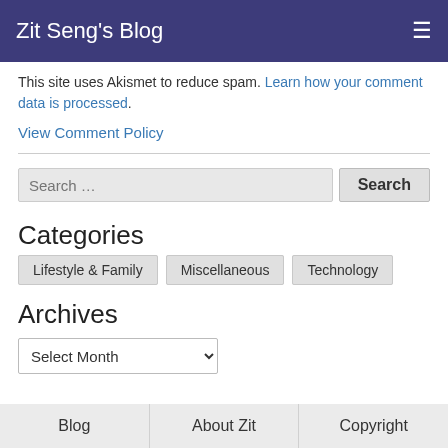Zit Seng's Blog
This site uses Akismet to reduce spam. Learn how your comment data is processed.
View Comment Policy
Categories
Lifestyle & Family
Miscellaneous
Technology
Archives
Select Month
Blog | About Zit | Copyright